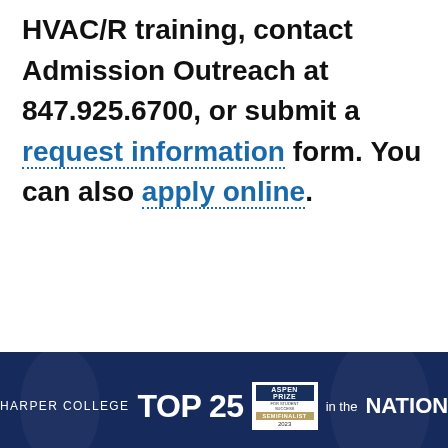HVAC/R training, contact Admission Outreach at 847.925.6700, or submit a request information form. You can also apply online.
[Figure (infographic): Harper College TOP 25 in the NATION banner with Aspen Prize Semifinalist 2023 badge]
[Figure (screenshot): Search input field with red Ask Question button]
Harper uses cookies to enhance your browsing experience. Find out more on how we use cookies and how you can change your settings.
I Agree